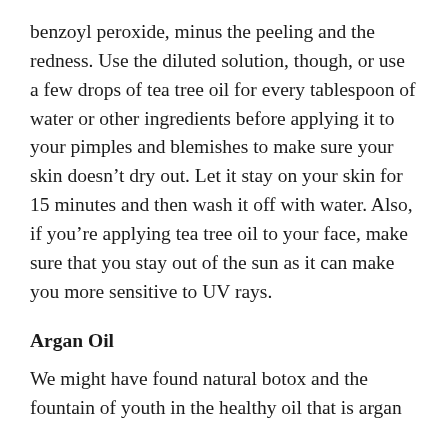benzoyl peroxide, minus the peeling and the redness. Use the diluted solution, though, or use a few drops of tea tree oil for every tablespoon of water or other ingredients before applying it to your pimples and blemishes to make sure your skin doesn't dry out. Let it stay on your skin for 15 minutes and then wash it off with water. Also, if you're applying tea tree oil to your face, make sure that you stay out of the sun as it can make you more sensitive to UV rays.
Argan Oil
We might have found natural botox and the fountain of youth in the healthy oil that is argan